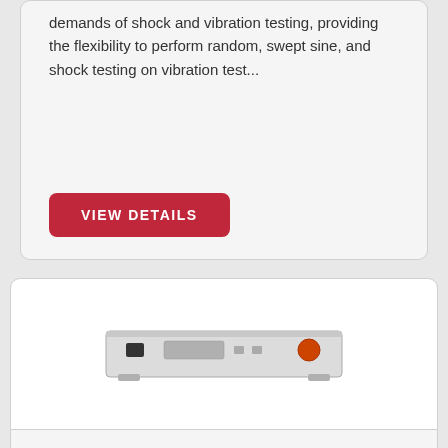demands of shock and vibration testing, providing the flexibility to perform random, swept sine, and shock testing on vibration test...
VIEW DETAILS
[Figure (photo): LDS Laser USB Vibration Controller hardware unit — a white rack-mount device with small display and orange indicator on front panel]
LDS Laser USB Vibration Controller
A vibration controller supporting 4 – 16 input channels. Combines convenience, performance, flexibility and